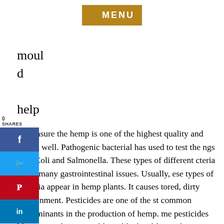[Figure (other): MENU navigation button in brown/gold color]
mould
help
to ensure the hemp is one of the highest quality and grown well. Pathogenic bacterial has used to test the ngs of E-Coli and Salmonella. These types of different cteria cause many gastrointestinal issues. Usually, ese types of bacteria appear in hemp plants. It causes tored, dirty environment. Pesticides are one of the st common contaminants in the production of hemp. me pesticides like spinosad cause problems like head-lice, other pesticides like daminozide, growing ornamental plants, and not going consumed by humans or animals. CBD and THC are both poisons to humans, whether the customers usage of this level and this also used for medicine in a foreign country, but the usage